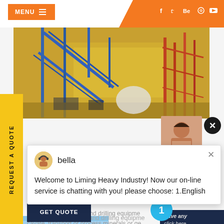MENU  ≡
[Figure (screenshot): Website screenshot of Liming Heavy Industry page with orange header, menu button, social icons, factory hero image, chat popup from 'bella' saying 'Welcome to Liming Heavy Industry! Now our on-line service is chatting with you! please choose: 1.English', yellow REQUEST A QUOTE sidebar, GET QUOTE button, and right sidebar with Enquiry and drobilkalm text]
Welcome to Liming Heavy Industry! Now our on-line service is chatting with you! please choose: 1.English
ing Equipment Mining and drilling equipme
cavate, transport or process minerals or ge
m the earth Item User
GET QUOTE
Have any  click here.
Quot
Enquiry
drobilkalm